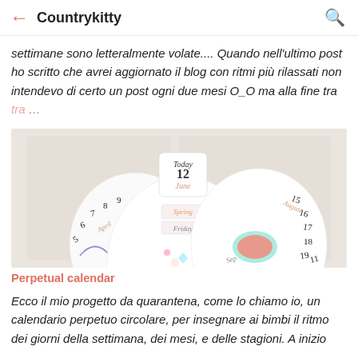← Countrykitty 🔍
settimane sono letteralmente volate.... Quando nell'ultimo post ho scritto che avrei aggiornato il blog con ritmi più rilassati non intendevo di certo un post ogni due mesi O_O ma alla fine tra ...
[Figure (photo): Photo of handmade circular perpetual calendar pieces showing Today/12/June/Spring/Friday labels and decorative illustrations, displayed against a light wall]
Perpetual calendar
Ecco il mio progetto da quarantena, come lo chiamo io, un calendario perpetuo circolare, per insegnare ai bimbi il ritmo dei giorni della settimana, dei mesi, e delle stagioni. A inizio